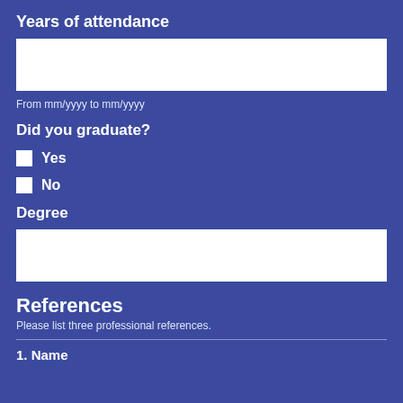Years of attendance
[Figure (other): White input box for years of attendance]
From mm/yyyy to mm/yyyy
Did you graduate?
Yes
No
Degree
[Figure (other): White input box for degree]
References
Please list three professional references.
1. Name